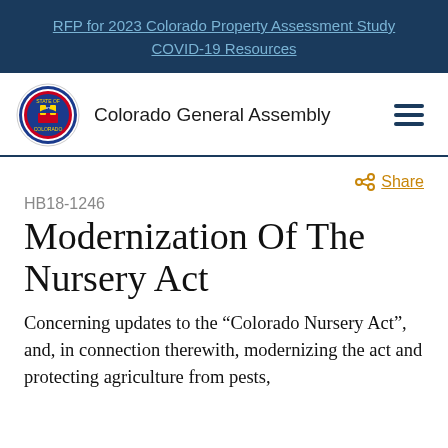RFP for 2023 Colorado Property Assessment Study
COVID-19 Resources
[Figure (logo): Colorado General Assembly logo with state seal and hamburger menu icon]
Share
HB18-1246
Modernization Of The Nursery Act
Concerning updates to the “Colorado Nursery Act”, and, in connection therewith, modernizing the act and protecting agriculture from pests,